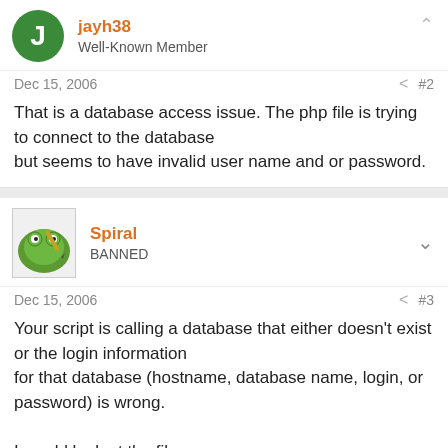jayh38
Well-Known Member
Dec 15, 2006   #2
That is a database access issue. The php file is trying to connect to the database but seems to have invalid user name and or password.
Spiral
BANNED
Dec 15, 2006   #3
Your script is calling a database that either doesn't exist or the login information for that database (hostname, database name, login, or password) is wrong.

I would look at the file '/home/amazhun4/public_html/crons/4/as/mysql.php'